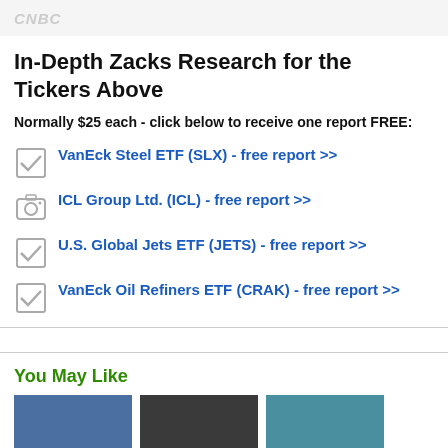CNBC
In-Depth Zacks Research for the Tickers Above
Normally $25 each - click below to receive one report FREE:
VanEck Steel ETF (SLX) - free report >>
ICL Group Ltd. (ICL) - free report >>
U.S. Global Jets ETF (JETS) - free report >>
VanEck Oil Refiners ETF (CRAK) - free report >>
You May Like
[Figure (photo): Three thumbnail images in a row for You May Like section]